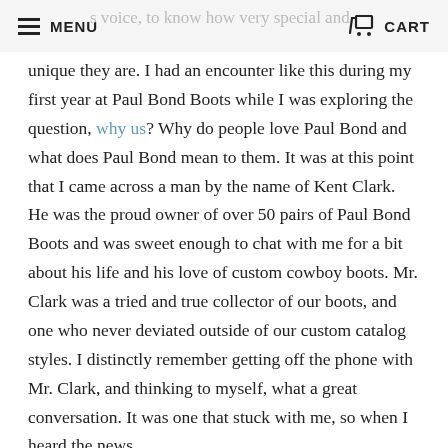MENU  CART
unique they are. I had an encounter like this during my first year at Paul Bond Boots while I was exploring the question, why us? Why do people love Paul Bond and what does Paul Bond mean to them. It was at this point that I came across a man by the name of Kent Clark. He was the proud owner of over 50 pairs of Paul Bond Boots and was sweet enough to chat with me for a bit about his life and his love of custom cowboy boots. Mr. Clark was a tried and true collector of our boots, and one who never deviated outside of our custom catalog styles. I distinctly remember getting off the phone with Mr. Clark, and thinking to myself, what a great conversation. It was one that stuck with me, so when I heard the news